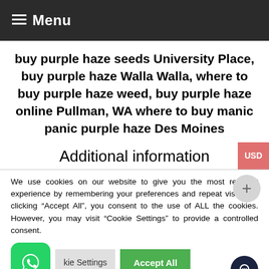Menu
buy purple haze seeds University Place, buy purple haze Walla Walla, where to buy purple haze weed, buy purple haze online Pullman, WA where to buy manic panic purple haze Des Moines
Additional information
We use cookies on our website to give you the most relevant experience by remembering your preferences and repeat visits. By clicking “Accept All”, you consent to the use of ALL the cookies. However, you may visit “Cookie Settings” to provide a controlled consent.
Cookie Settings | Accept All